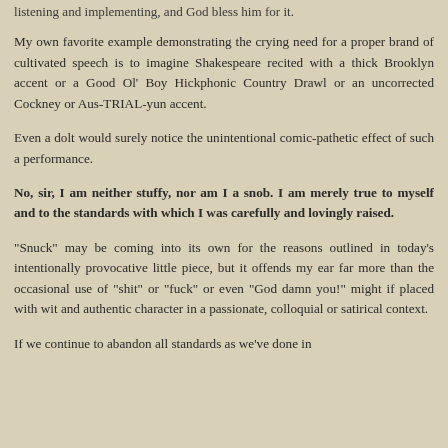listening and implementing, and God bless him for it.
My own favorite example demonstrating the crying need for a proper brand of cultivated speech is to imagine Shakespeare recited with a thick Brooklyn accent or a Good Ol' Boy Hickphonic Country Drawl or an uncorrected Cockney or Aus-TRIAL-yun accent.
Even a dolt would surely notice the unintentional comic-pathetic effect of such a performance.
No, sir, I am neither stuffy, nor am I a snob. I am merely true to myself and to the standards with which I was carefully and lovingly raised.
"Snuck" may be coming into its own for the reasons outlined in today's intentionally provocative little piece, but it offends my ear far more than the occasional use of "shit" or "fuck" or even "God damn you!" might if placed with wit and authentic character in a passionate, colloquial or satirical context.
If we continue to abandon all standards as we've done in